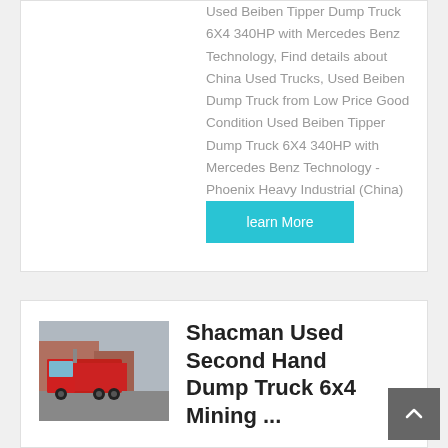Used Beiben Tipper Dump Truck 6X4 340HP with Mercedes Benz Technology, Find details about China Used Trucks, Used Beiben Dump Truck from Low Price Good Condition Used Beiben Tipper Dump Truck 6X4 340HP with Mercedes Benz Technology - Phoenix Heavy Industrial (China) Co., Ltd.
learn More
[Figure (photo): Red Shacman truck tractor unit parked in a yard]
Shacman Used Second Hand Dump Truck 6x4 Mining ...